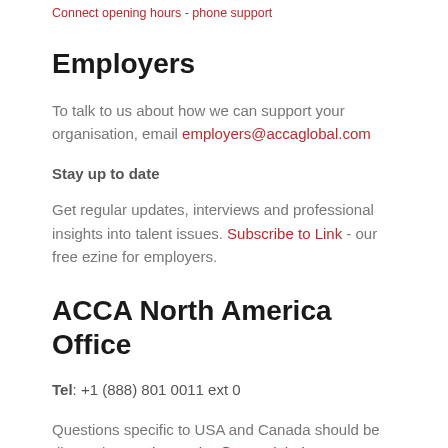Connect opening hours - phone support
Employers
To talk to us about how we can support your organisation, email employers@accaglobal.com
Stay up to date
Get regular updates, interviews and professional insights into talent issues. Subscribe to Link - our free ezine for employers.
ACCA North America Office
Tel: +1 (888) 801 0011 ext 0
Questions specific to USA and Canada should be directed to north.america@accaglobal.com